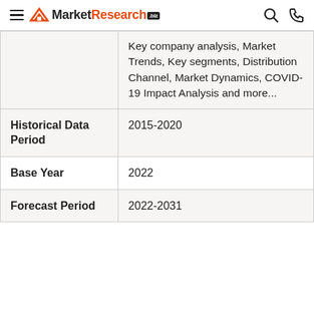MarketResearch.biz
|  | Key company analysis, Market Trends, Key segments, Distribution Channel, Market Dynamics, COVID-19 Impact Analysis and more... |
| Historical Data Period | 2015-2020 |
| Base Year | 2022 |
| Forecast Period | 2022-2031 |